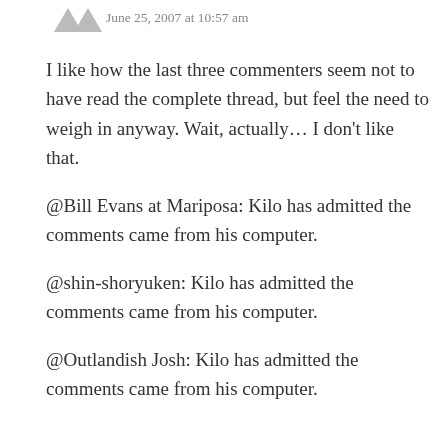June 25, 2007 at 10:57 am
I like how the last three commenters seem not to have read the complete thread, but feel the need to weigh in anyway. Wait, actually… I don't like that.
@Bill Evans at Mariposa: Kilo has admitted the comments came from his computer.
@shin-shoryuken: Kilo has admitted the comments came from his computer.
@Outlandish Josh: Kilo has admitted the comments came from his computer.